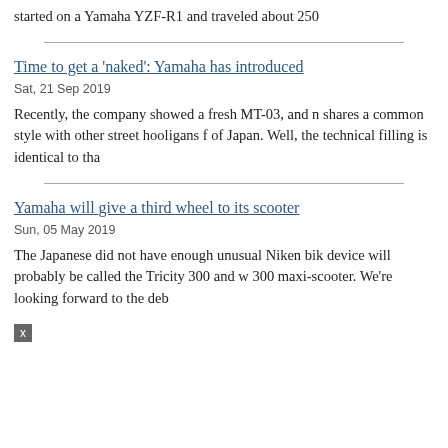started on a Yamaha YZF-R1 and traveled about 250
Time to get a 'naked': Yamaha has introduced
Sat, 21 Sep 2019
Recently, the company showed a fresh MT-03, and n shares a common style with other street hooligans f of Japan. Well, the technical filling is identical to tha
Yamaha will give a third wheel to its scooter
Sun, 05 May 2019
The Japanese did not have enough unusual Niken bik device will probably be called the Tricity 300 and w 300 maxi-scooter. We're looking forward to the deb